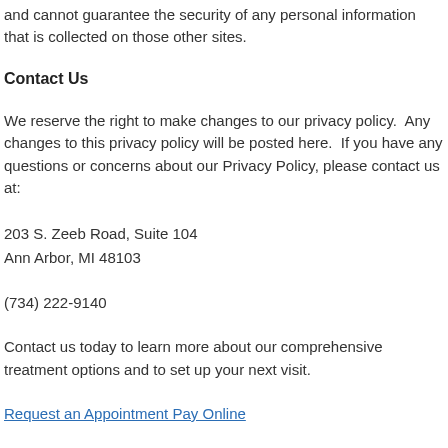and cannot guarantee the security of any personal information that is collected on those other sites.
Contact Us
We reserve the right to make changes to our privacy policy.  Any changes to this privacy policy will be posted here.  If you have any questions or concerns about our Privacy Policy, please contact us at:
203 S. Zeeb Road, Suite 104
Ann Arbor, MI 48103
(734) 222-9140
Contact us today to learn more about our comprehensive treatment options and to set up your next visit.
Request an Appointment Pay Online